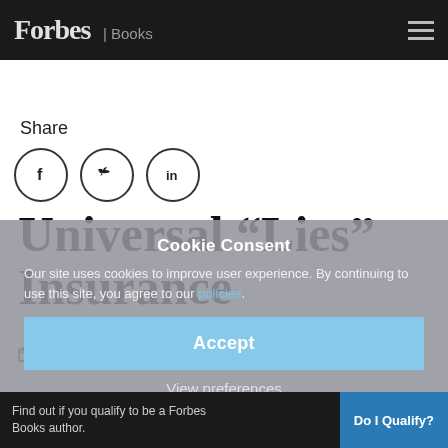Forbes | Books
Share
[Figure (illustration): Three social media icon circles: Facebook (f), Twitter (bird), LinkedIn (in)]
Universal "Lies" Insurance
September 8, 2017   Matt Zagula
Cookie Consent
Our site uses cookies to improve user experience. By continuing to use this site, you agree to our policies.
Accept
View preferences
Find out if you qualify to be a Forbes Books author.   Do I Qualify?